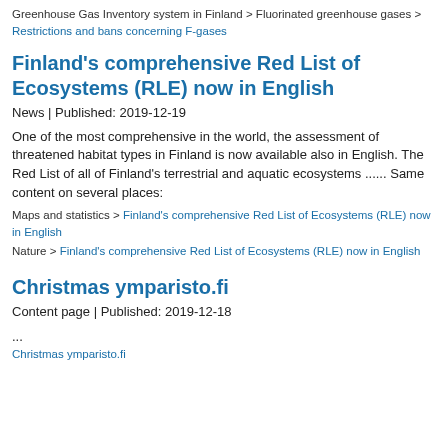Greenhouse Gas Inventory system in Finland > Fluorinated greenhouse gases > Restrictions and bans concerning F-gases
Finland’s comprehensive Red List of Ecosystems (RLE) now in English
News | Published: 2019-12-19
One of the most comprehensive in the world, the assessment of threatened habitat types in Finland is now available also in English. The Red List of all of Finland’s terrestrial and aquatic ecosystems ...... Same content on several places:
Maps and statistics > Finland’s comprehensive Red List of Ecosystems (RLE) now in English
Nature > Finland’s comprehensive Red List of Ecosystems (RLE) now in English
Christmas ymparisto.fi
Content page | Published: 2019-12-18
...
Christmas ymparisto.fi